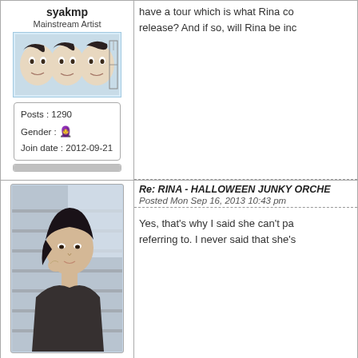syakmp
Mainstream Artist
[Figure (illustration): Anime-style avatar with three character faces side by side]
Posts : 1290
Gender : 👩
Join date : 2012-09-21
have a tour which is what Rina co... release? And if so, will Rina be inc...
Re: RINA - HALLOWEEN JUNKY ORCHE...
Posted Mon Sep 16, 2013 10:43 pm
[Figure (photo): Photo of a young woman with dark hair leaning near a window]
Yes, that's why I said she can't pa... referring to. I never said that she's...